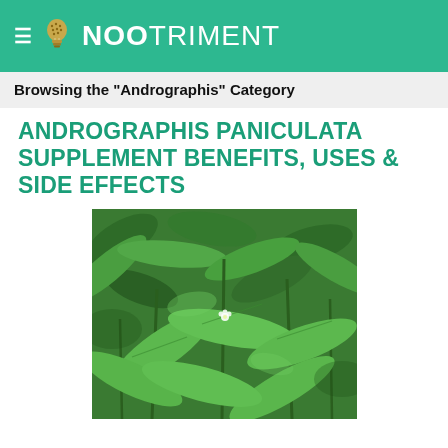NOOTRIMENT
Browsing the "Andrographis" Category
ANDROGRAPHIS PANICULATA SUPPLEMENT BENEFITS, USES & SIDE EFFECTS
[Figure (photo): Close-up photo of Andrographis paniculata plant showing dense green leaves and small white flowers]